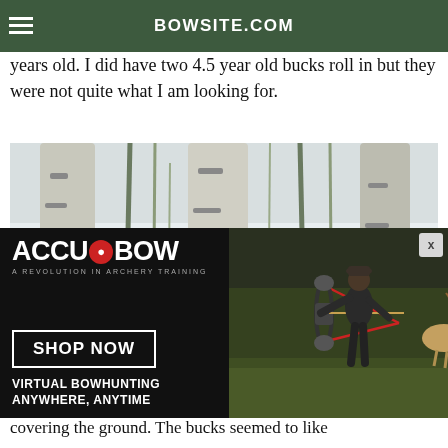BOWSITE.COM
years old. I did have two 4.5 year old bucks roll in but they were not quite what I am looking for.
[Figure (photo): Aerial/overhead view from a treestand looking down at a deer in a snowy forest with birch trees]
[Figure (photo): AccuBow advertisement banner: 'AccuBow – A Revolution in Archery Training. Shop Now. Virtual Bowhunting Anywhere, Anytime.' showing a person drawing a compound bow with a deer target visible.]
covering the ground. The bucks seemed to like